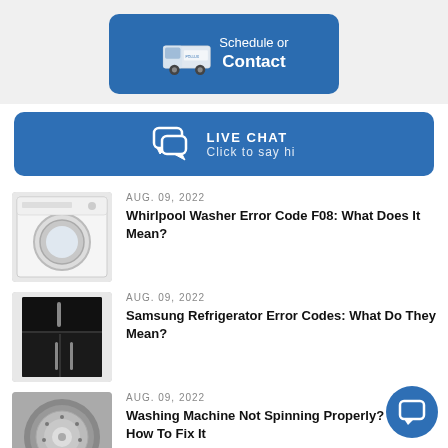[Figure (illustration): Blue Schedule or Contact button with a service van icon on the left and white text reading 'Schedule or Contact']
[Figure (illustration): Blue Live Chat button with speech bubble icon and text 'LIVE CHAT - Click to say hi']
[Figure (photo): Thumbnail of a front-loading washing machine]
AUG. 09, 2022
Whirlpool Washer Error Code F08: What Does It Mean?
[Figure (photo): Thumbnail of a black Samsung refrigerator]
AUG. 09, 2022
Samsung Refrigerator Error Codes: What Do They Mean?
[Figure (photo): Thumbnail of a washing machine drum from top view]
AUG. 09, 2022
Washing Machine Not Spinning Properly? Here's How To Fix It
[Figure (photo): Thumbnail of Samsung washing machine with laundry inside]
JUL. 05, 2022
Common Samsung Washing Machine Problems and Troubleshooting